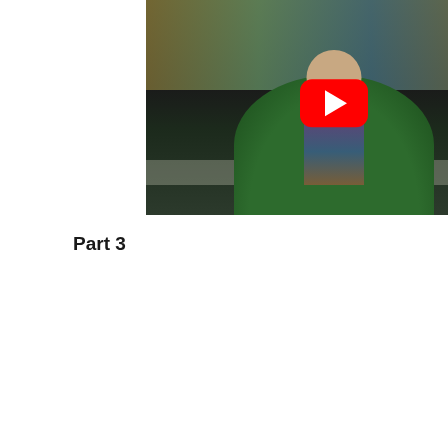[Figure (screenshot): YouTube video thumbnail showing a reverend/clergy person wearing green vestments and a floral stole, seated in front of a decorated tapestry background, with a large red YouTube play button overlay in the center.]
Part 3
[Figure (screenshot): Embedded YouTube video player showing a black screen with a top bar containing a circular thumbnail image and the title 'Rev. Felicity Wright, Ser...' with a three-dot menu icon on the right.]